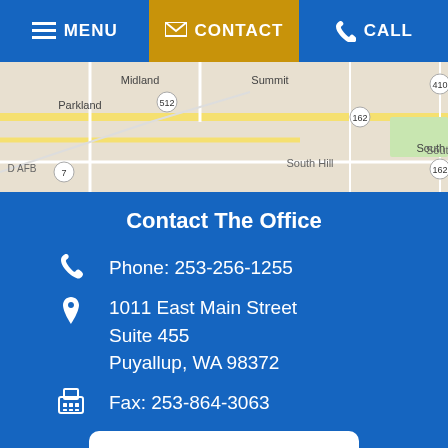MENU | CONTACT | CALL
[Figure (map): Google Maps showing Puyallup/South Hill area with roads, showing Midland, Summit, Alderton, Parkland, McMillin, Prairie Ridge, South Prairie, South Hill area]
Contact The Office
Phone: 253-256-1255
1011 East Main Street
Suite 455
Puyallup, WA 98372
Fax: 253-864-3063
Puyallup Law Office Location